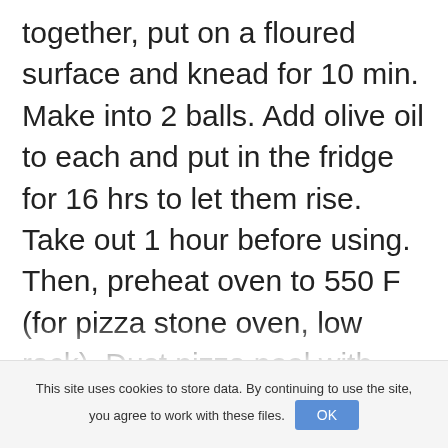together, put on a floured surface and knead for 10 min. Make into 2 balls. Add olive oil to each and put in the fridge for 16 hrs to let them rise. Take out 1 hour before using. Then, preheat oven to 550 F (for pizza stone oven, low rack). Dust pizza peel with flour. Add flour to each dough ball and make into 14 in. diameters. Add dough onto the floured peel. Add mozzarella slices, black pepper, dried oregano
This site uses cookies to store data. By continuing to use the site, you agree to work with these files. OK